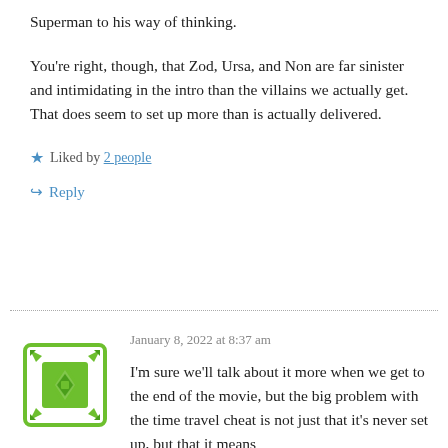Superman to his way of thinking.
You're right, though, that Zod, Ursa, and Non are far sinister and intimidating in the intro than the villains we actually get. That does seem to set up more than is actually delivered.
Liked by 2 people
Reply
January 8, 2022 at 8:37 am
[Figure (illustration): Green Gravatar avatar icon with diamond and arrow pattern]
A Fan Not on Krypton
I'm sure we'll talk about it more when we get to the end of the movie, but the big problem with the time travel cheat is not just that it's never set up, but that it means